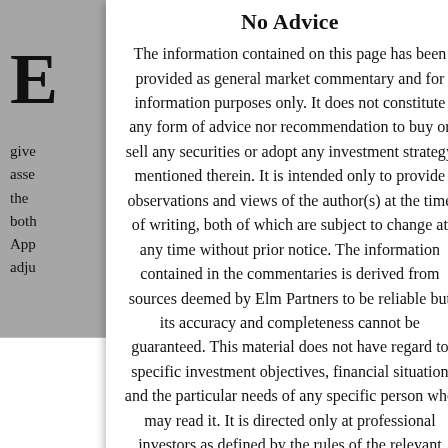No Advice
The information contained on this page has been provided as general market commentary and for information purposes only. It does not constitute any form of advice nor recommendation to buy or sell any securities or adopt any investment strategy mentioned therein. It is intended only to provide observations and views of the author(s) at the time of writing, both of which are subject to change at any time without prior notice. The information contained in the commentaries is derived from sources deemed by Elm Partners to be reliable but its accuracy and completeness cannot be guaranteed. This material does not have regard to specific investment objectives, financial situation and the particular needs of any specific person who may read it. It is directed only at professional investors as defined by the rules of the relevant regulatory authority. Any views regarding future prospects may or may not be realized. Past performance is no guarantee of future results.
of public and private market risky assets⁴